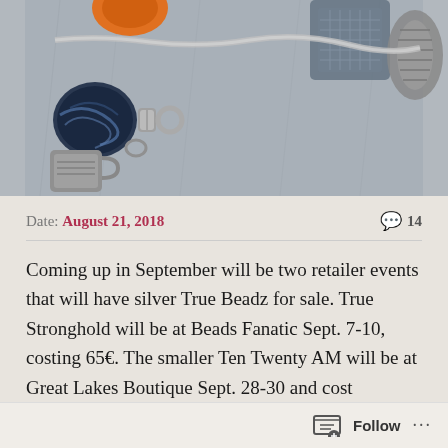[Figure (photo): Close-up photograph of a charm bracelet with silver charms including a mug/cup charm, blue-black swirl beads, and decorative silver and crystal elements on a gray leather background.]
Date: August 21, 2018   💬 14
Coming up in September will be two retailer events that will have silver True Beadz for sale. True Stronghold will be at Beads Fanatic Sept. 7-10, costing 65€. The smaller Ten Twenty AM will be at Great Lakes Boutique Sept. 28-30 and cost